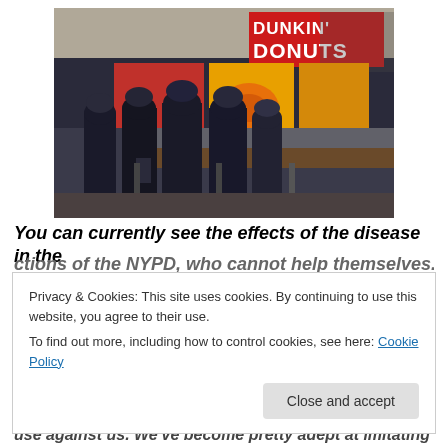[Figure (photo): Several police officers in dark uniforms standing at the counter of a Dunkin' Donuts restaurant, viewed from behind. The Dunkin' Donuts sign and illuminated menu boards are visible in the background.]
You can currently see the effects of the disease in the
actions of the NYPD, who cannot help themselves...
Privacy & Cookies: This site uses cookies. By continuing to use this website, you agree to their use.
To find out more, including how to control cookies, see here: Cookie Policy
Close and accept
use against us. We've become pretty adept at imitating